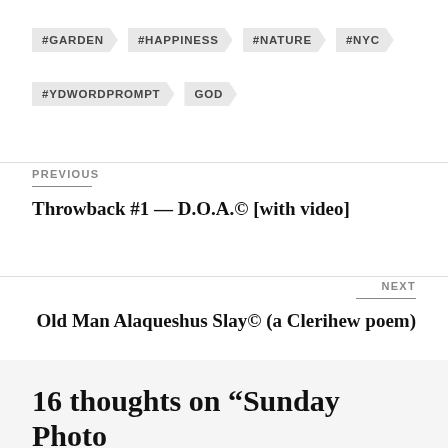#GARDEN
#HAPPINESS
#NATURE
#NYC
#YDWORDPROMPT
GOD
PREVIOUS
Throwback #1 — D.O.A.© [with video]
NEXT
Old Man Alaqueshus Slay© (a Clerihew poem)
16 thoughts on “Sunday Photo Reflection #11: The Squirrel